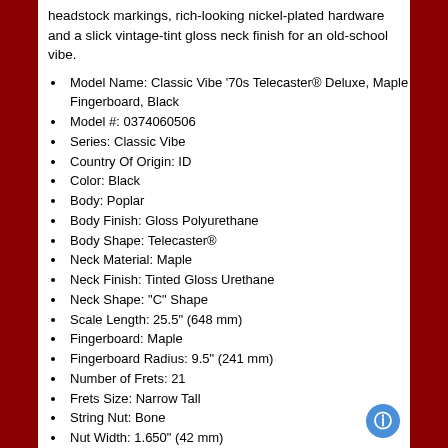headstock markings, rich-looking nickel-plated hardware and a slick vintage-tint gloss neck finish for an old-school vibe.
Model Name: Classic Vibe '70s Telecaster® Deluxe, Maple Fingerboard, Black
Model #: 0374060506
Series: Classic Vibe
Country Of Origin: ID
Color: Black
Body: Poplar
Body Finish: Gloss Polyurethane
Body Shape: Telecaster®
Neck Material: Maple
Neck Finish: Tinted Gloss Urethane
Neck Shape: "C" Shape
Scale Length: 25.5" (648 mm)
Fingerboard: Maple
Fingerboard Radius: 9.5" (241 mm)
Number of Frets: 21
Frets Size: Narrow Tall
String Nut: Bone
Nut Width: 1.650" (42 mm)